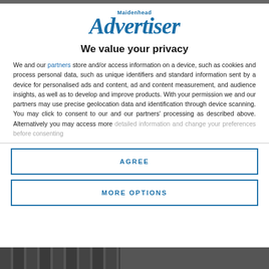[Figure (logo): Maidenhead Advertiser logo in blue italic serif font]
We value your privacy
We and our partners store and/or access information on a device, such as cookies and process personal data, such as unique identifiers and standard information sent by a device for personalised ads and content, ad and content measurement, and audience insights, as well as to develop and improve products. With your permission we and our partners may use precise geolocation data and identification through device scanning. You may click to consent to our and our partners' processing as described above. Alternatively you may access more detailed information and change your preferences before consenting
AGREE
MORE OPTIONS
[Figure (photo): Partial photo at the bottom of the page, dark cityscape or building scene]